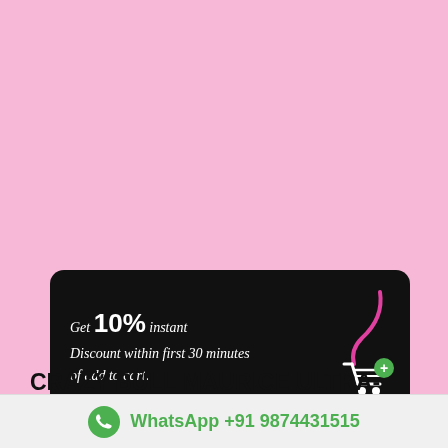[Figure (infographic): Black rounded rectangle banner: 'Get 10% instant Discount within first 30 minutes of add to cart.' with a magenta S-curve logo and green shopping cart icon on the right.]
CRAZY BULL MAURICE ULTRA-SIMULATION PUSSY MO-044
WhatsApp +91 9874431515